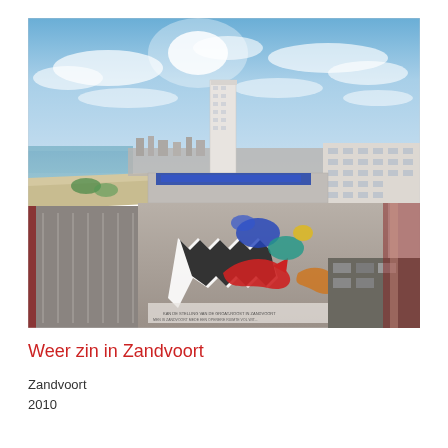[Figure (photo): Aerial view of Zandvoort, Netherlands. A large colorful mural/artwork painted on a parking lot or plaza in the foreground, with a tall white residential tower in the center background, beach and sea to the left, and a multi-story hotel/apartment building on the right. Blue sky with wispy clouds above.]
Weer zin in Zandvoort
Zandvoort
2010